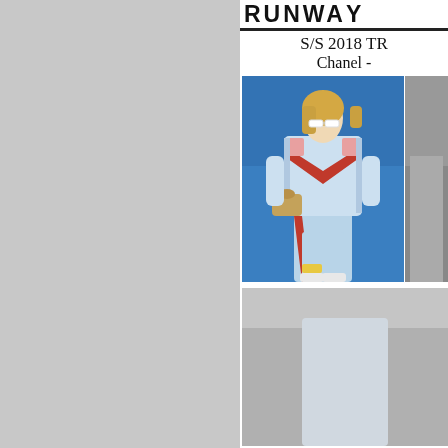RUNWAY
S/S 2018 TR
Chanel -
[Figure (photo): Fashion runway photo showing a model in a light blue tracksuit with red chevron patterns and decorative embellishments, wearing white sunglasses and carrying a tan handbag, walking on a blue runway]
[Figure (photo): Partially visible second fashion runway photo at bottom of page]